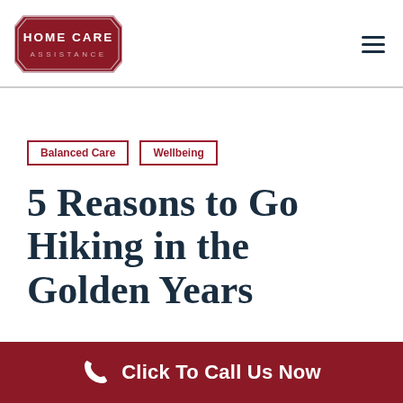[Figure (logo): Home Care Assistance logo — dark red shield/hexagon shape with white text reading HOME CARE ASSISTANCE]
Balanced Care
Wellbeing
5 Reasons to Go Hiking in the Golden Years
Click To Call Us Now